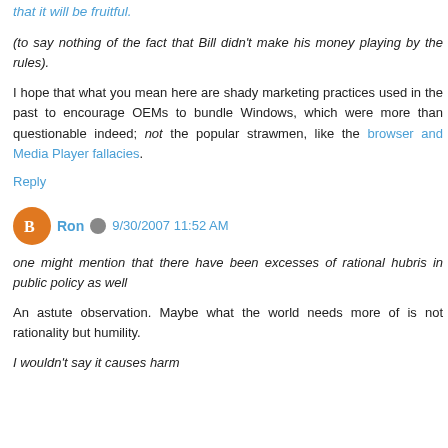that it will be fruitful.
(to say nothing of the fact that Bill didn't make his money playing by the rules).
I hope that what you mean here are shady marketing practices used in the past to encourage OEMs to bundle Windows, which were more than questionable indeed; not the popular strawmen, like the browser and Media Player fallacies.
Reply
Ron  9/30/2007 11:52 AM
one might mention that there have been excesses of rational hubris in public policy as well
An astute observation. Maybe what the world needs more of is not rationality but humility.
I wouldn't say it causes harm